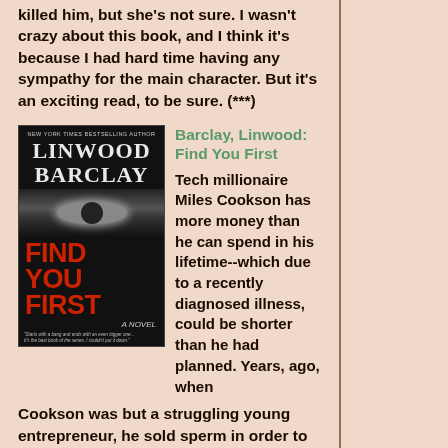killed him, but she's not sure. I wasn't crazy about this book, and I think it's because I had hard time having any sympathy for the main character. But it's an exciting read, to be sure. (***)
[Figure (photo): Book cover of 'Find You First' by Linwood Barclay, showing the author name in gray/white, title in red bold letters, and a close-up eye image on a dark background]
Barclay, Linwood: Find You First
Tech millionaire Miles Cookson has more money than he can spend in his lifetime--which due to a recently diagnosed illness, could be shorter than he had planned. Years, ago, when Cookson was but a struggling young entrepreneur, he sold sperm in order to bankroll a business. Now he learns that his disease can be passed on to his offspring, of which it turns out he has nine. Cookson wants to find them to inform them of their chances of